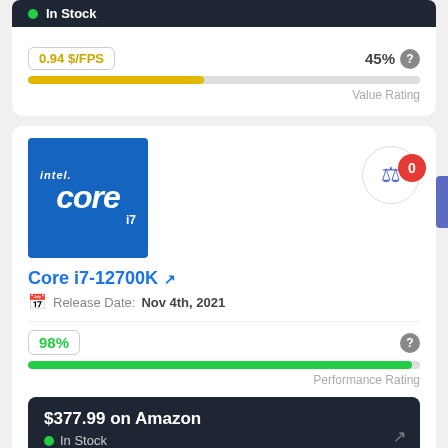In Stock
0.94 $/FPS
45%
Value Rating
[Figure (infographic): Intel Core i7 processor logo — blue square with 'intel.' text, 'CORE' large, and 'i7' in corner]
Core i7-12700K
Release Date: Nov 4th, 2021
98%
Performance Rating
$377.99 on Amazon
In Stock
1.1 $/FPS
37%